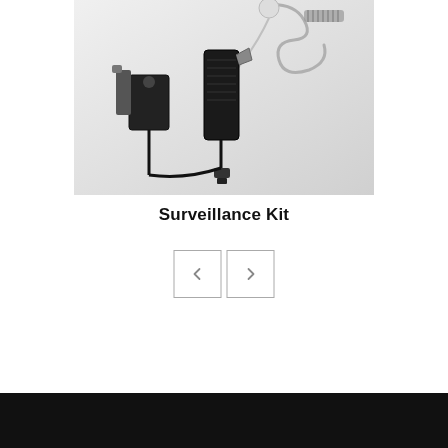[Figure (photo): Product photo of a surveillance kit showing earpiece with clear acoustic tube, PTT microphone with clip, and coiled cable on a white/light gray background]
Surveillance Kit
[Figure (other): Navigation buttons: left arrow (previous) and right arrow (next), each in a square bordered box]